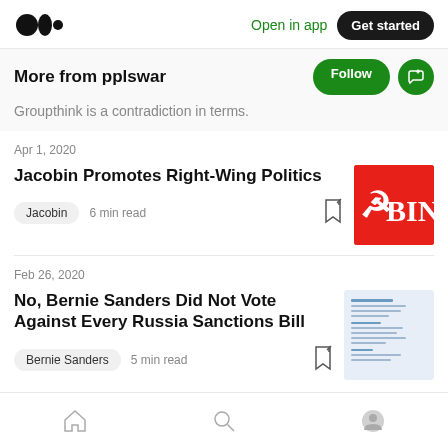Medium logo | Open in app | Get started
More from pplswar
Groupthink is a contradiction in terms.
Apr 1, 2020
Jacobin Promotes Right-Wing Politics
Jacobin  6 min read
Feb 26, 2020
No, Bernie Sanders Did Not Vote Against Every Russia Sanctions Bill
Bernie Sanders  5 min read
Home | Search | Profile